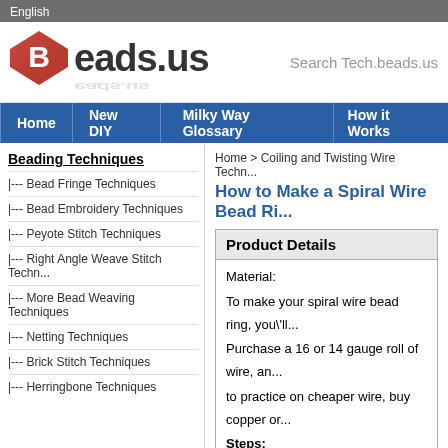English
[Figure (logo): Beads.us logo with red diamond shape containing a white B, followed by 'eads.us' text, with reflection below and search box text 'Search Tech.beads.us']
Home | New DIY | Milky Way Glossary | How it Works
Home > Coiling and Twisting Wire Techn...
How to Make a Spiral Wire Bead Ri...
Beading Techniques
|--- Bead Fringe Techniques
|--- Bead Embroidery Techniques
|--- Peyote Stitch Techniques
|--- Right Angle Weave Stitch Techn...
|--- More Bead Weaving Techniques
|--- Netting Techniques
|--- Brick Stitch Techniques
|--- Herringbone Techniques
Product Details
Material:
To make your spiral wire bead ring, you'll...
Purchase a 16 or 14 gauge roll of wire, an...
to practice on cheaper wire, buy copper or...
Steps:
Step 1: Size the ring. Place center of wire...